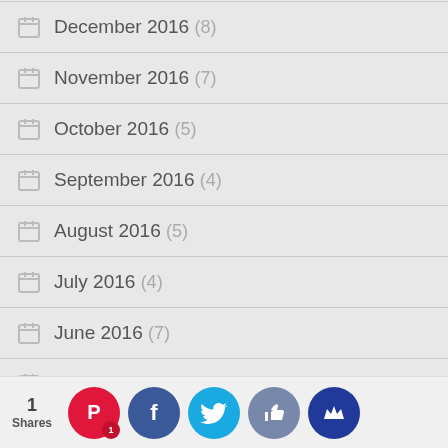December 2016 (8)
November 2016 (7)
October 2016 (5)
September 2016 (4)
August 2016 (5)
July 2016 (4)
June 2016 (7)
May 2016 (4)
April 2016
March 2016